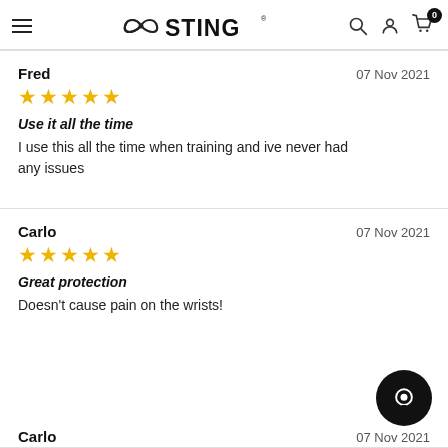STING
Fred — 07 Nov 2021 — ★★★★★ — Use it all the time — I use this all the time when training and ive never had any issues
Carlo — 07 Nov 2021 — ★★★★★ — Great protection — Doesn't cause pain on the wrists!